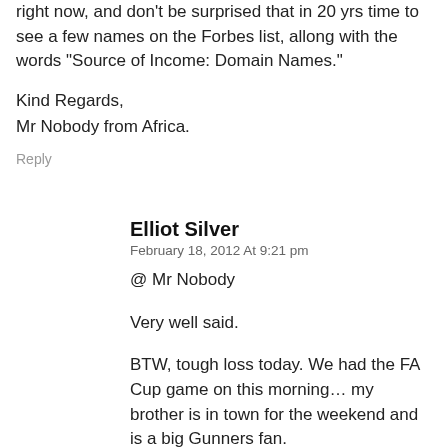right now, and don't be surprised that in 20 yrs time to see a few names on the Forbes list, allong with the words "Source of Income: Domain Names."
Kind Regards,
Mr Nobody from Africa.
Reply
Elliot Silver
February 18, 2012 At 9:21 pm
@ Mr Nobody
Very well said.
BTW, tough loss today. We had the FA Cup game on this morning… my brother is in town for the weekend and is a big Gunners fan.
Reply